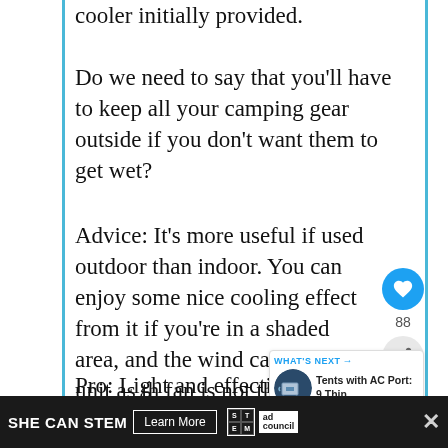cooler initially provided.
Do we need to say that you'll have to keep all your camping gear outside if you don't want them to get wet?
Advice: It's more useful if used outdoor than indoor. You can enjoy some nice cooling effect from it if you're in a shaded area, and the wind can help the unit as the fan is not that powerful.
Pro: Light and effective as it uses the
SHE CAN STEM   Learn More   ad council   away